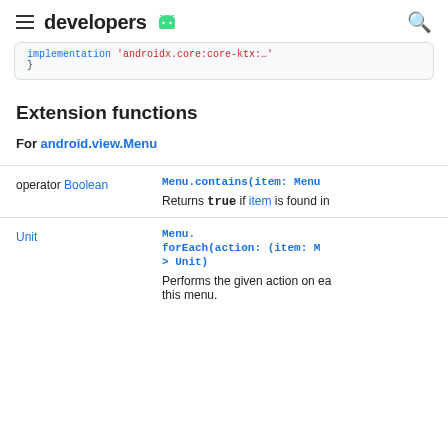developers
implementation 'androidx.core:core-ktx:...'
}
Extension functions
For android.view.Menu
| Return type | Function |
| --- | --- |
| operator Boolean | Menu.contains(item: Menu
Returns true if item is found in |
| Unit | Menu.
forEach(action: (item: M
> Unit)
Performs the given action on each item in this menu. |